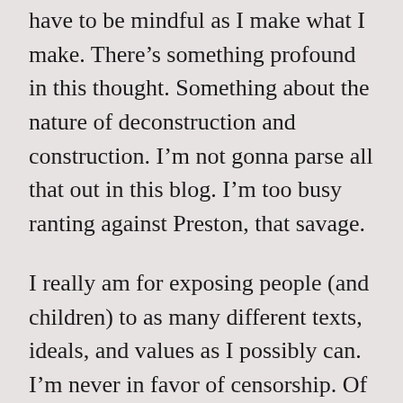have to be mindful as I make what I make. There's something profound in this thought. Something about the nature of deconstruction and construction. I'm not gonna parse all that out in this blog. I'm too busy ranting against Preston, that savage.
I really am for exposing people (and children) to as many different texts, ideals, and values as I possibly can. I'm never in favor of censorship. Of imposing my will (and ideas) on others as though there aren't alternatives. I'm a literacy scholar. I'm all about learning to read. Paulo Freire, a